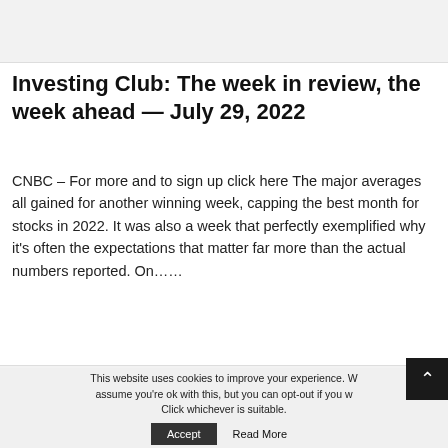Investing Club: The week in review, the week ahead — July 29, 2022
CNBC – For more and to sign up click here The major averages all gained for another winning week, capping the best month for stocks in 2022. It was also a week that perfectly exemplified why it's often the expectations that matter far more than the actual numbers reported. On……
Read more
This website uses cookies to improve your experience. W assume you're ok with this, but you can opt-out if you w Click whichever is suitable.
Accept
Read More